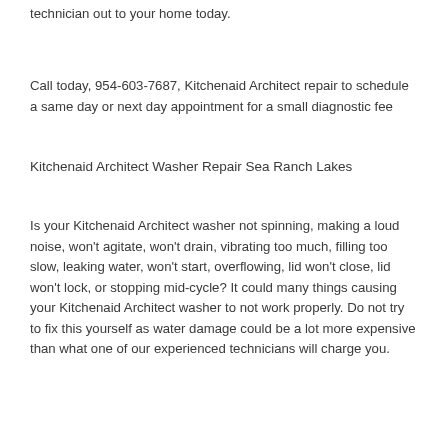technician out to your home today.
Call today, 954-603-7687, Kitchenaid Architect repair to schedule a same day or next day appointment for a small diagnostic fee
Kitchenaid Architect Washer Repair Sea Ranch Lakes
Is your Kitchenaid Architect washer not spinning, making a loud noise, won't agitate, won't drain, vibrating too much, filling too slow, leaking water, won't start, overflowing, lid won't close, lid won't lock, or stopping mid-cycle? It could many things causing your Kitchenaid Architect washer to not work properly. Do not try to fix this yourself as water damage could be a lot more expensive than what one of our experienced technicians will charge you.